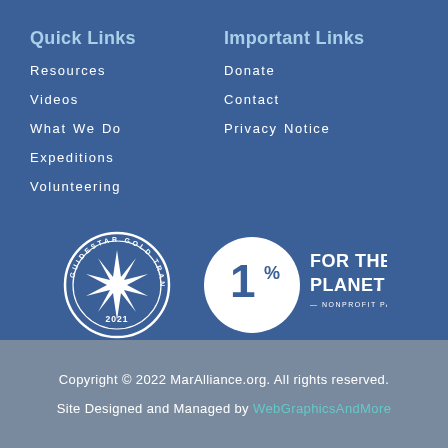Quick Links
Resources
Videos
What We Do
Expeditions
Volunteering
Important Links
Donate
Contact
Privacy Notice
[Figure (logo): GuideStar Gold Transparency 2021 badge — circular badge with star burst icon]
[Figure (logo): 1% For The Planet — Nonprofit Partner badge with circle and bold text]
Copyright © 2022 MarAlliance.org.  All rights reserved.
Site Designed and Managed by WebGraphicsAndMore